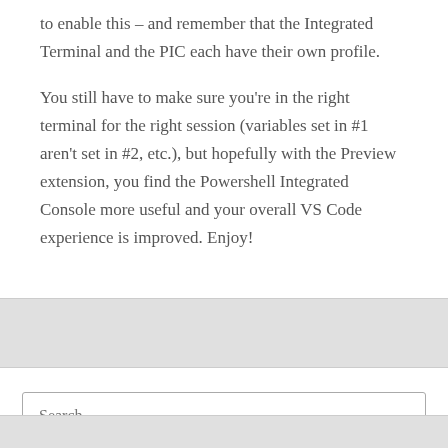to enable this – and remember that the Integrated Terminal and the PIC each have their own profile.
You still have to make sure you're in the right terminal for the right session (variables set in #1 aren't set in #2, etc.), but hopefully with the Preview extension, you find the Powershell Integrated Console more useful and your overall VS Code experience is improved. Enjoy!